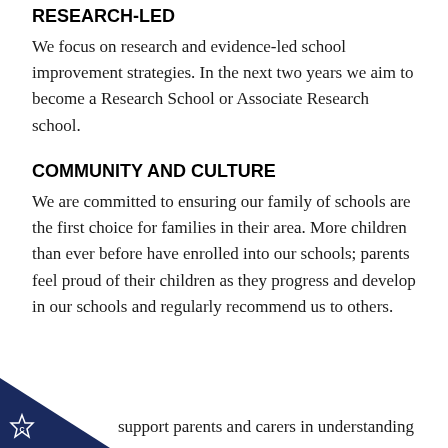RESEARCH-LED
We focus on research and evidence-led school improvement strategies. In the next two years we aim to become a Research School or Associate Research school.
COMMUNITY AND CULTURE
We are committed to ensuring our family of schools are the first choice for families in their area. More children than ever before have enrolled into our schools; parents feel proud of their children as they progress and develop in our schools and regularly recommend us to others.
support parents and carers in understanding